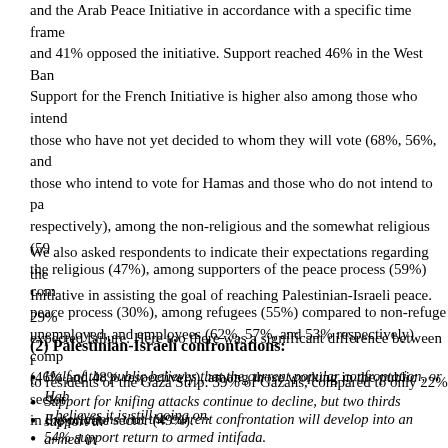and the Arab Peace Initiative in accordance with a specific time frame and 41% opposed the initiative. Support reached 46% in the West Ban Support for the French Initiative is higher also among those who intend those who have not yet decided to whom they will vote (68%, 56%, and those who intend to vote for Hamas and those who do not intend to pa respectively), among the non-religious and the somewhat religious (59 the religious (47%), among supporters of the peace process (59%) compared peace process (30%), among refugees (55%) compared to non-refuge unemployed, and employees (62%, 57%, and 53% respectively) comp (46% and 48% respectively), among those working in the public sector in the private sector (49%).
We also asked respondents to indicate their expectations regarding the Initiative in assisting the goal of reaching Palestinian-Israeli peace. 29% expected failure. Here too there was a significant difference between r to residents of the Gaza Strip: 39% of Gazans, compared to only 22%
(2) Palestinian-Israeli confrontations:
Half of the public believes that the current popular confrontation, or Hab believes it is still going on.
Support for knifing attacks continue to decline, but two thirds support th
Expectations that the current confrontation will develop into an armed in
54% support return to armed intifada.
The public is divided into two equal halves regarding the end of the cu habba al sha'biyya: 48% believe it has stopped and 48% believe it has